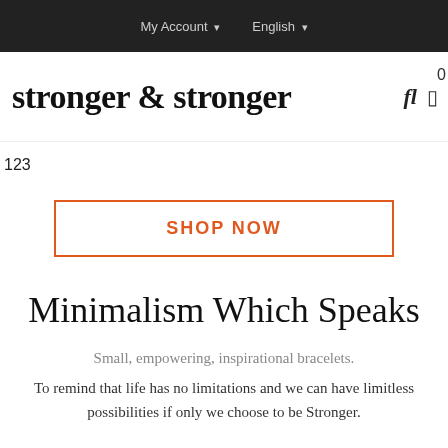My Account  English
stronger & stronger
123
SHOP NOW
Minimalism Which Speaks
Small, empowering, inspirational bracelets.
To remind that life has no limitations and we can have limitless possibilities if only we choose to be Stronger.